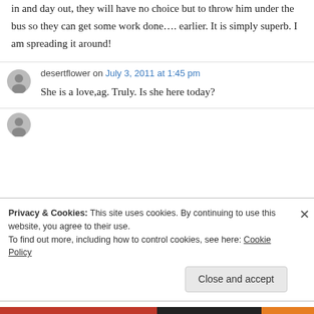in and day out, they will have no choice but to throw him under the bus so they can get some work done…. earlier. It is simply superb. I am spreading it around!
desertflower on July 3, 2011 at 1:45 pm
She is a love,ag. Truly. Is she here today?
Privacy & Cookies: This site uses cookies. By continuing to use this website, you agree to their use.
To find out more, including how to control cookies, see here: Cookie Policy
Close and accept